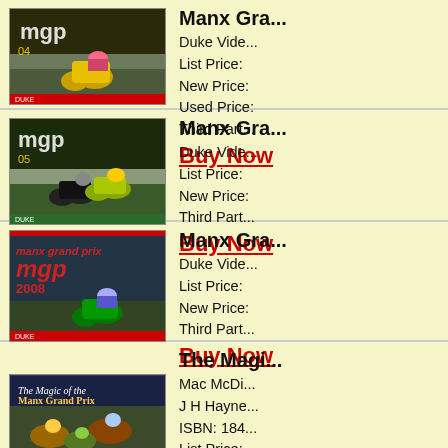[Figure (photo): MGP DVD cover - motorcycle racing, yellow bike, 'mgp' logo]
Manx Gra... Duke Vide... List Price: New Price: Used Price: Third Part... Buy Now
[Figure (photo): MGP DVD cover - motorcycle racing, two bikes, 'mgp' logo]
Manx Gra... Duke Vide... List Price: New Price: Third Part... Buy Now
[Figure (photo): Manx Grand Prix 2008 DVD cover - 'manx grand prix mgp 2008']
Manx Gra... Duke Vide... List Price: New Price: Third Part... Buy Now
[Figure (photo): The Magic... book cover with motorcycle racers]
The Magi... Mac McDi... J H Hayne... ISBN: 184... List Price: